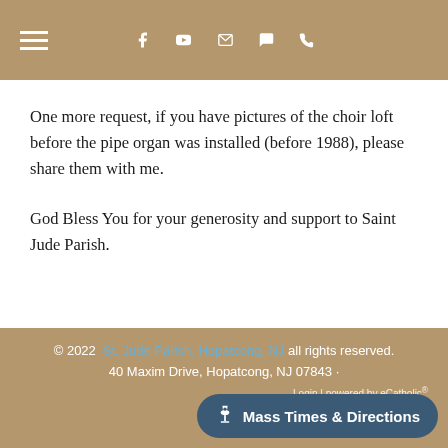Navigation header with hamburger menu and social/contact icons
One more request, if you have pictures of the choir loft before the pipe organ was installed (before 1988), please share them with me.
God Bless You for your generosity and support to Saint Jude Parish.
© 2022  St. Jude Parish, Hopatcong, NJ all rights reserved. 40 Maxim Drive, Hopatcong, NJ 07843 · Login | powered by eCatholic®
Mass Times & Directions